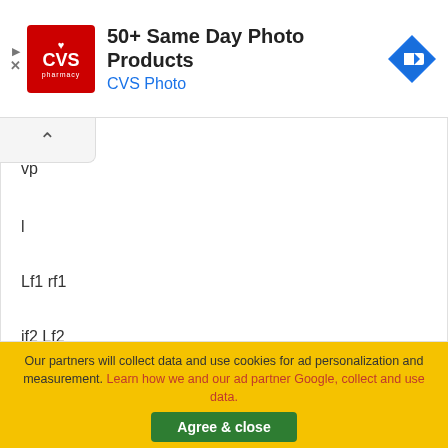[Figure (screenshot): CVS Pharmacy advertisement banner with logo, title '50+ Same Day Photo Products', subtitle 'CVS Photo', and a blue navigation arrow icon]
Lm
vp
l
Lf1 rf1
if2 Lf2
A
rf2
Our partners will collect data and use cookies for ad personalization and measurement. Learn how we and our ad partner Google, collect and use data.
Agree & close